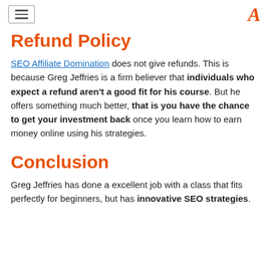[hamburger menu] [A logo]
Refund Policy
SEO Affiliate Domination does not give refunds. This is because Greg Jeffries is a firm believer that individuals who expect a refund aren't a good fit for his course. But he offers something much better, that is you have the chance to get your investment back once you learn how to earn money online using his strategies.
Conclusion
Greg Jeffries has done a excellent job with a class that fits perfectly for beginners, but has innovative SEO strategies.